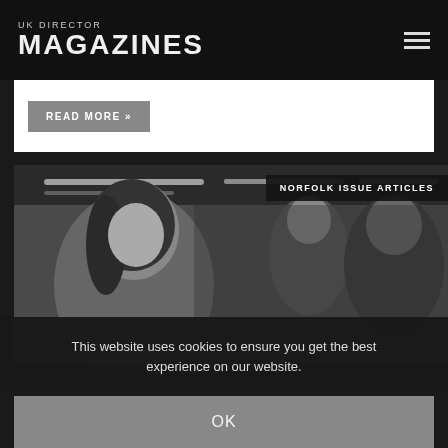UK DIRECTOR MAGAZINES
READ MORE »
[Figure (photo): Black and white photo of people at a business networking event, with a young woman in foreground looking up, and a man in a suit in the background. Overhead strip lighting visible.]
NORFOLK ISSUE ARTICLES
This website uses cookies to ensure you get the best experience on our website.
OK